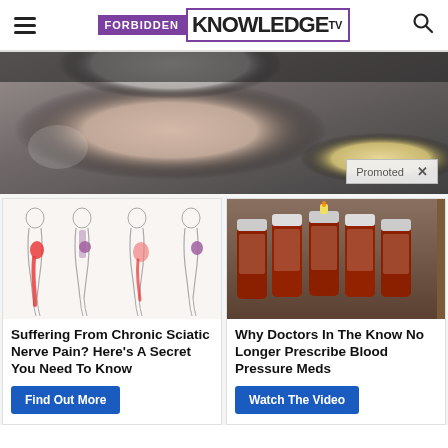FORBIDDEN KNOWLEDGE TV
[Figure (photo): Close-up photo of an elderly man with gray hair, looking thoughtful or concerned. Dark interior background. 'Promoted X' badge in bottom right corner.]
[Figure (illustration): Medical illustration showing four human body silhouettes from the side, highlighting sciatic nerve pain pathways with red shading along the leg and lower back.]
Suffering From Chronic Sciatic Nerve Pain? Here's A Secret You Need To Know
Find Out More
[Figure (photo): Photo of several brown prescription medicine bottles arranged in a fan pattern on a dark surface.]
Why Doctors In The Know No Longer Prescribe Blood Pressure Meds
Watch The Video